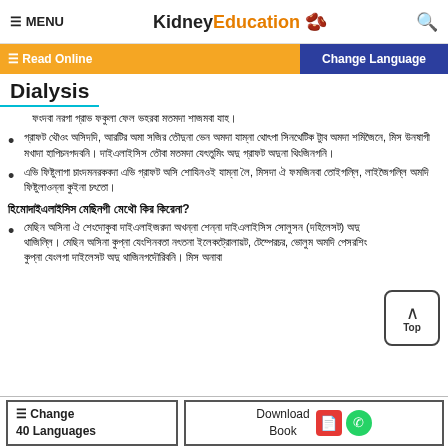≡ MENU | KidneyEducation | 🔍
≡ Read Online | Change Language
Dialysis
ফংদবা নরগা গ্রাভ ফকুলা ফেল ভহরবা মতমদা শাজমবা যাহ।
গ্রাফট থৌওং অসিদদি, আরটির অমা সজির তৌদুনা ভেন অমদা যাম্না থোৎপা সিনথেটিক টুাব অমদা শমিজৈনে, মিস উনষাগী মখাদা হাপিচনগদবনি। দাইএলাইসিস তৌবা মতমদা যেৎতুমিং অদু গ্রাফট অদুনা থিংজিনগনি।
এভি ফিষ্টুলাগা চাংদমনরকবদা এভি গ্রাফট অসি শোযিনওই যাম্না লৈ, মিসদা ঐ ফমজিনবা তোইগল্লি, লাইজৈগল্লি অমদি ফিষ্টুলাওন্না কুইনা চৎতো।
হিমোদাইএলাইসিস মেছিনগী মেথৌ কির কিরেনা?
মেছিন অসিনা ঐ শেংদোকুবা দাইএলাইজরদা অখন্না শেন্না দাইএলাইসিস সোলুসন (দহিলেসট) অদু থাজিল্লি। মেছিন অসিনা কুপ্না যেংশিনবতা নৎতনা ইলেকট্রোলায়ট, টেম্পেরচর, ভোলুম অমদি পেসরশিং কুপ্না যেংলগা দাইলেসট অদু থাজিনগদৌরিবনি। মিস অনাবা